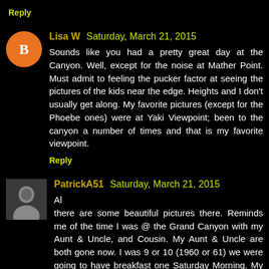Reply
Lisa W  Saturday, March 21, 2015
Sounds like you had a pretty great day at the Canyon. Well, except for the noise at Mather Point. Must admit to feeling the pucker factor at seeing the pictures of the kids near the edge. Heights and I don't usually get along. My favorite pictures (except for the Phoebe ones) were at Yaki Viewpoint; been to the canyon a number of times and that is my favorite viewpoint.
Reply
PatrickA51  Saturday, March 21, 2015
Al
there are some beautiful pictures there. Reminds me of the time I was @ the Grand Canyon with my Aunt & Uncle, and Cousin. My Aunt & Uncle are both gone now. I was 9 or 10 (1960 or 61) we were going to have breakfast one Saturday Morning. My Aunt made Oatmeal. Yo